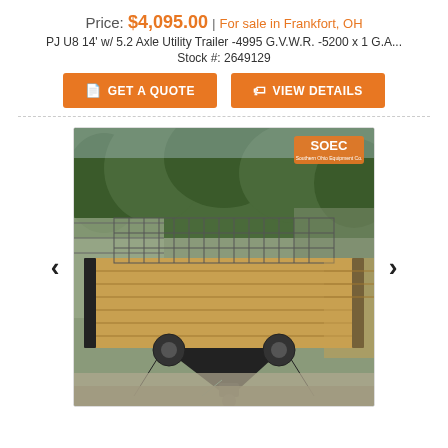Price: $4,095.00 | For sale in Frankfort, OH
PJ U8 14' w/ 5.2 Axle Utility Trailer -4995 G.V.W.R. -5200 x 1 G.A...
Stock #: 2649129
GET A QUOTE
VIEW DETAILS
[Figure (photo): Photo of a black PJ utility trailer with wood plank deck, metal mesh gate at front, parked on gravel with trees in background. SOEC logo visible in upper right of photo. Navigation arrows (< >) on left and right sides of image.]